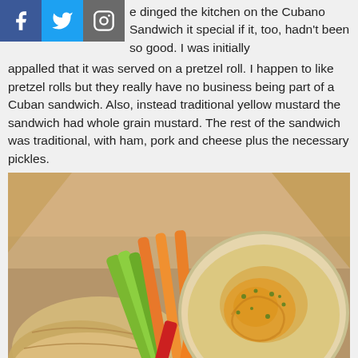e dinged the kitchen on the Cubano Sandwich it special if it, too, hadn't been so good. I was initially appalled that it was served on a pretzel roll. I happen to like pretzel rolls but they really have no business being part of a Cuban sandwich. Also, instead traditional yellow mustard the sandwich had whole grain mustard. The rest of the sandwich was traditional, with ham, pork and cheese plus the necessary pickles.
[Figure (photo): A takeout box containing hummus in a clear plastic container, pita bread pieces, carrot sticks, celery sticks, and red and orange bell pepper strips arranged together.]